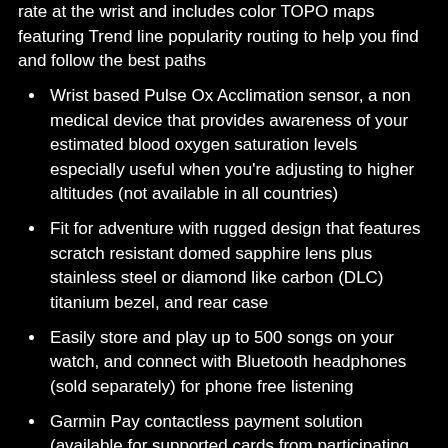rate at the wrist and includes color TOPO maps featuring Trend line popularity routing to help you find and follow the best paths
Wrist based Pulse Ox Acclimation sensor, a non medical device that provides awareness of your estimated blood oxygen saturation levels especially useful when you're adjusting to higher altitudes (not available in all countries)
Fit for adventure with rugged design that features scratch resistant domed sapphire lens plus stainless steel or diamond like carbon (DLC) titanium bezel, and rear case
Easily store and play up to 500 songs on your watch, and connect with Bluetooth headphones (sold separately) for phone free listening
Garmin Pay contactless payment solution (available for supported cards from participating banks) lets you make convenient payments with your watch, so you can leave your cash and cards at home